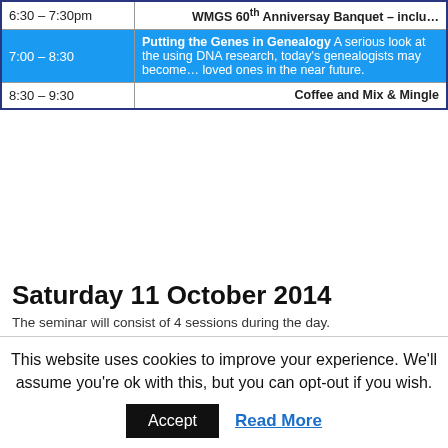| Time | Event |
| --- | --- |
| 6:30 – 7:30pm | WMGS 60th Anniversay Banquet – inclu… |
| 7:00 – 8:30 | Putting the Genes in Genealogy A serious look at the… using DNA research, today's genealogists may become… loved ones in the near future. |
| 8:30 – 9:30 | Coffee and Mix & Mingle |
Saturday 11 October 2014
The seminar will consist of 4 sessions during the day.
| Time | Event |
| --- | --- |
| 8:30 – 9:00 | Registration |
| Session 1
9:00 – 10:15 | Cloudy, with a Chance of Genealogy
A simple and down-to-earth explanation of what "the clo… can use Cloud Computing to simplify their own compute… |
| 10:15 – 11:00 | Rest Area and Vendors |
| Session 2
11:00 – 12:30 | The Organized Genealogist Going Paperless A look a… organizing record keeping by use of digital techniques. |
This website uses cookies to improve your experience. We'll assume you're ok with this, but you can opt-out if you wish.
Accept
Read More